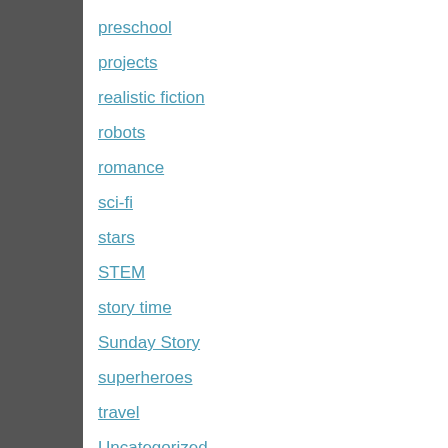preschool
projects
realistic fiction
robots
romance
sci-fi
stars
STEM
story time
Sunday Story
superheroes
travel
Uncategorized
vacation
websites
YALSA Best Books